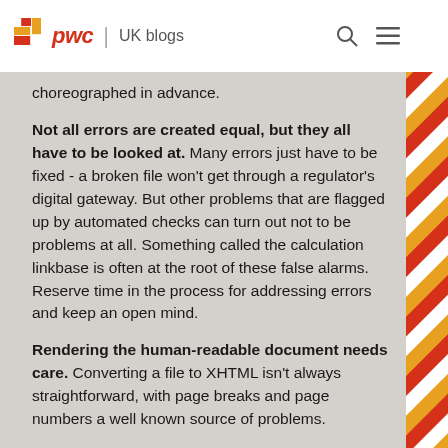pwc | UK blogs
choreographed in advance.
Not all errors are created equal, but they all have to be looked at. Many errors just have to be fixed - a broken file won't get through a regulator's digital gateway. But other problems that are flagged up by automated checks can turn out not to be problems at all. Something called the calculation linkbase is often at the root of these false alarms. Reserve time in the process for addressing errors and keep an open mind.
Rendering the human-readable document needs care. Converting a file to XHTML isn't always straightforward, with page breaks and page numbers a well known source of problems.
All the attributes of a tag are important. Choosing the